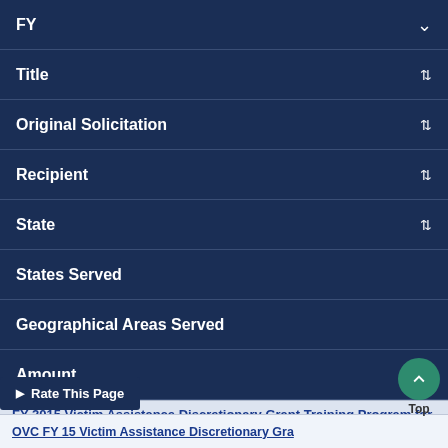| Column | Sort |
| --- | --- |
| FY | ↓ |
| Title | ↕ |
| Original Solicitation | ↕ |
| Recipient | ↕ |
| State | ↕ |
| States Served |  |
| Geographical Areas Served |  |
| Amount | ↕ |
FY 2015 Victim Assistance Discretionary Grant Training Program for VOCA Victim Assistance
Rate This Page
Top
OVC FY 15 Victim Assistance Discretionary Gra